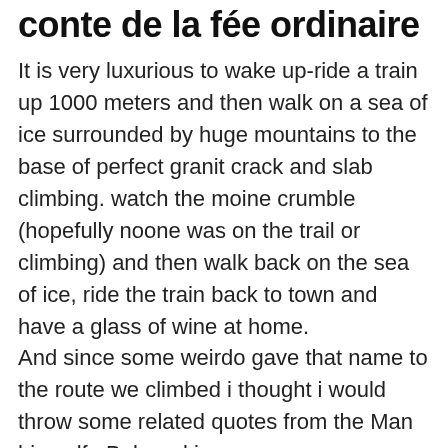conte de la fée ordinaire
It is very luxurious to wake up-ride a train up 1000 meters and then walk on a sea of ice surrounded by huge mountains to the base of perfect granit crack and slab climbing. watch the moine crumble (hopefully noone was on the trail or climbing) and then walk back on the sea of ice, ride the train back to town and have a glass of wine at home.
And since some weirdo gave that name to the route we climbed i thought i would throw some related quotes from the Man himself : Bukowski.
“show me a man who lives alone and has a perpetually dirty kitchen, and 5 times out of 9 I’ll show you an exceptional man.” “show me a man who lives alone and has a perpetually clean kitchen, and 8 times out of 9 I’ll show you a man with detectable spiritual qualities.”